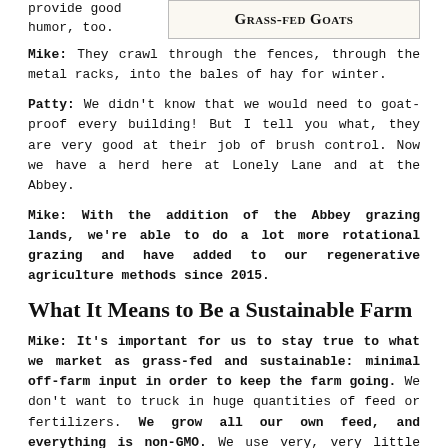provide good humor, too.
Grass-fed Goats
Mike: They crawl through the fences, through the metal racks, into the bales of hay for winter.
Patty: We didn't know that we would need to goat-proof every building! But I tell you what, they are very good at their job of brush control. Now we have a herd here at Lonely Lane and at the Abbey.
Mike: With the addition of the Abbey grazing lands, we're able to do a lot more rotational grazing and have added to our regenerative agriculture methods since 2015.
What It Means to Be a Sustainable Farm
Mike: It's important for us to stay true to what we market as grass-fed and sustainable: minimal off-farm input in order to keep the farm going. We don't want to truck in huge quantities of feed or fertilizers. We grow all our own feed, and everything is non-GMO. We use very, very little fertilizer for our amount of acreage. Our loafing shed provides all the compost for the next year.